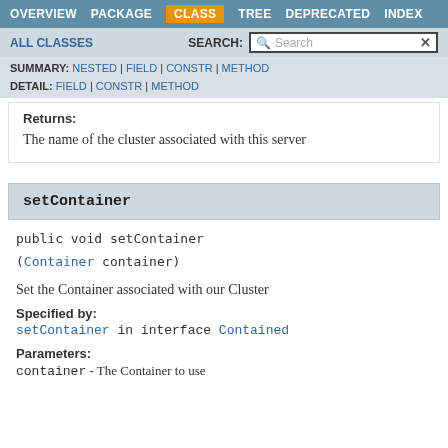OVERVIEW | PACKAGE | CLASS | TREE | DEPRECATED | INDEX
ALL CLASSES | SEARCH:
SUMMARY: NESTED | FIELD | CONSTR | METHOD | DETAIL: FIELD | CONSTR | METHOD
Returns:
The name of the cluster associated with this server
setContainer
public void setContainer
(Container container)
Set the Container associated with our Cluster
Specified by:
setContainer in interface Contained
Parameters:
container - The Container to use